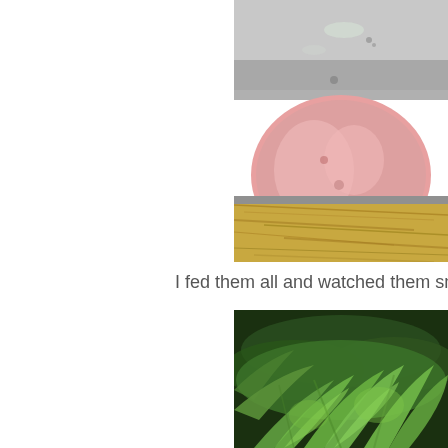[Figure (photo): Close-up photo of a pig lying on straw/hay bedding, with a metal surface visible above. The pig's pink skin and the golden straw are prominently visible.]
I fed them all and watched them snuffle
[Figure (photo): Photo of lush green ferns in a forest or garden setting, showing multiple overlapping fern fronds in bright green against a darker background.]